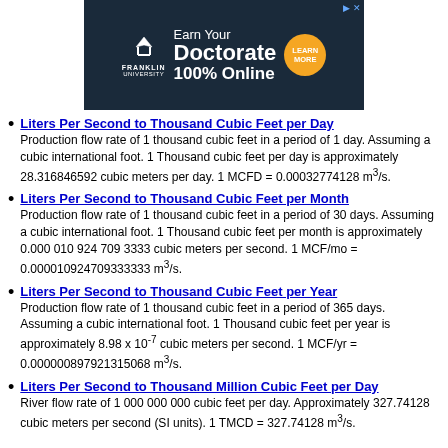[Figure (other): Franklin University advertisement banner: Earn Your Doctorate 100% Online with Learn More button]
Liters Per Second to Thousand Cubic Feet per Day — Production flow rate of 1 thousand cubic feet in a period of 1 day. Assuming a cubic international foot. 1 Thousand cubic feet per day is approximately 28.316846592 cubic meters per day. 1 MCFD = 0.00032774128 m3/s.
Liters Per Second to Thousand Cubic Feet per Month — Production flow rate of 1 thousand cubic feet in a period of 30 days. Assuming a cubic international foot. 1 Thousand cubic feet per month is approximately 0.000 010 924 709 3333 cubic meters per second. 1 MCF/mo = 0.000010924709333333 m3/s.
Liters Per Second to Thousand Cubic Feet per Year — Production flow rate of 1 thousand cubic feet in a period of 365 days. Assuming a cubic international foot. 1 Thousand cubic feet per year is approximately 8.98 x 10^-7 cubic meters per second. 1 MCF/yr = 0.000000897921315068 m3/s.
Liters Per Second to Thousand Million Cubic Feet per Day — River flow rate of 1 000 000 000 cubic feet per day. Approximately 327.74128 cubic meters per second (SI units). 1 TMCD = 327.74128 m3/s.